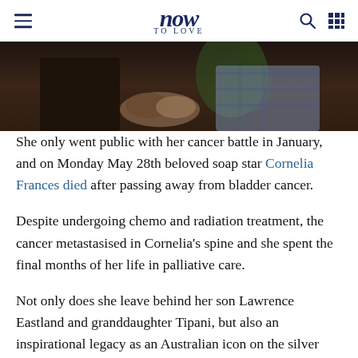now TO LOVE
[Figure (photo): Two people shaking hands, one wearing a plaid shirt, with a plant in the background. Dark/warm toned photo cropped at the top of the article.]
She only went public with her cancer battle in January, and on Monday May 28th beloved soap star Cornelia Frances died after passing away from bladder cancer.
Despite undergoing chemo and radiation treatment, the cancer metastasised in Cornelia's spine and she spent the final months of her life in palliative care.
Not only does she leave behind her son Lawrence Eastland and granddaughter Tipani, but also an inspirational legacy as an Australian icon on the silver